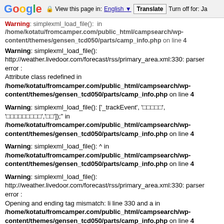Google | View this page in: English | Translate | Turn off for: Ja
Warning: simplexml_load_file(): in /home/kotatu/fromcamper.com/public_html/campsearch/wp-content/themes/gensen_tcd050/parts/camp_info.php on line 4
Warning: simplexml_load_file(): http://weather.livedoor.com/forecast/rss/primary_area.xml:330: parser error : Attribute class redefined in /home/kotatu/fromcamper.com/public_html/campsearch/wp-content/themes/gensen_tcd050/parts/camp_info.php on line 4
Warning: simplexml_load_file(): ['_trackEvent', '□□□□□', '□□□□□□□□□','□□']);" in /home/kotatu/fromcamper.com/public_html/campsearch/wp-content/themes/gensen_tcd050/parts/camp_info.php on line 4
Warning: simplexml_load_file(): ^ in /home/kotatu/fromcamper.com/public_html/campsearch/wp-content/themes/gensen_tcd050/parts/camp_info.php on line 4
Warning: simplexml_load_file(): http://weather.livedoor.com/forecast/rss/primary_area.xml:330: parser error : Opening and ending tag mismatch: li line 330 and a in /home/kotatu/fromcamper.com/public_html/campsearch/wp-content/themes/gensen_tcd050/parts/camp_info.php on line 4
Warning: simplexml_load_file(): ◆□','□□']);">>□□□□□□□□□□□□□□</a> </a> in /home/kotatu/fromcamper.com/public_html/campsearch/wp-content/themes/gensen_tcd050/parts/camp_info.php on line 4
Warning: simplexml_load_file(): ^ in /home/kotatu/fromcamper.com/public_html/campsearch/wp-content/themes/gensen_tcd050/parts/camp_info.php on line 4
Warning: simplexml_load_file(): http://weather.livedoor.com/forecast/rss/primary_area.xml:330: parser error : Opening and ending tag mismatch: section line 300 and li in